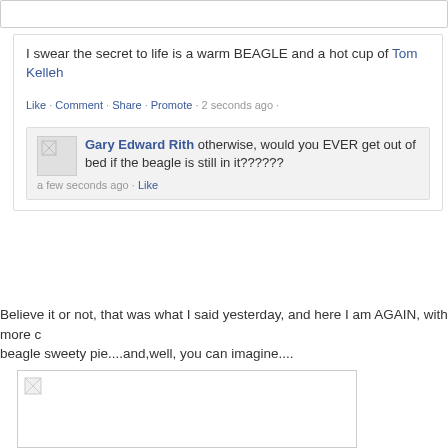I swear the secret to life is a warm BEAGLE and a hot cup of Tom Kelleh
Like · Comment · Share · Promote · 2 seconds ago ·
Gary Edward Rith otherwise, would you EVER get out of bed if the beagle is still in it??????
a few seconds ago · Like
Believe it or not, that was what I said yesterday, and here I am AGAIN, with more c beagle sweety pie....and,well, you can imagine....
[Figure (photo): Image placeholder with broken image icon]